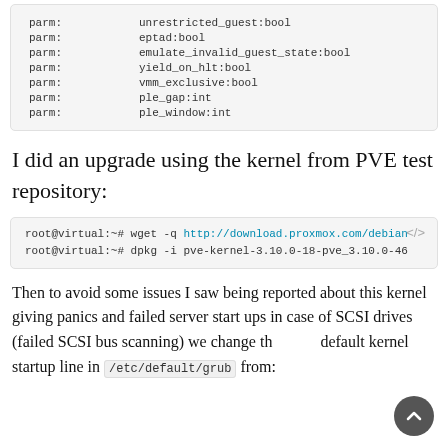[Figure (screenshot): Code block showing parm lines: unrestricted_guest:bool, eptad:bool, emulate_invalid_guest_state:bool, yield_on_hlt:bool, vmm_exclusive:bool, ple_gap:int, ple_window:int]
I did an upgrade using the kernel from PVE test repository:
[Figure (screenshot): Terminal code block: root@virtual:~# wget -q http://download.proxmox.com/debian... and root@virtual:~# dpkg -i pve-kernel-3.10.0-18-pve_3.10.0-46...]
Then to avoid some issues I saw being reported about this kernel giving panics and failed server start ups in case of SCSI drives (failed SCSI bus scanning) we change the default kernel startup line in /etc/default/grub from: